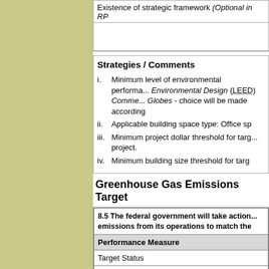Existence of strategic framework (Optional in RP
Strategies / Comments
i. Minimum level of environmental performance: Leadership in Energy and Environmental Design (LEED) Commercial Interiors or Green Globes - choice will be made according
ii. Applicable building space type: Office sp
iii. Minimum project dollar threshold for target project.
iv. Minimum building size threshold for targ
Greenhouse Gas Emissions Target
| Performance Measure |
| --- |
| Target Status |
| Departmental greenhouse gas (GHG) reductio... Percentage of absolute reduction in GHG emi... fiscal year 2020-21, relative to fiscal year 200... |
| Departmental GHG emissions in fiscal year 20... kilotonnes of CO... |